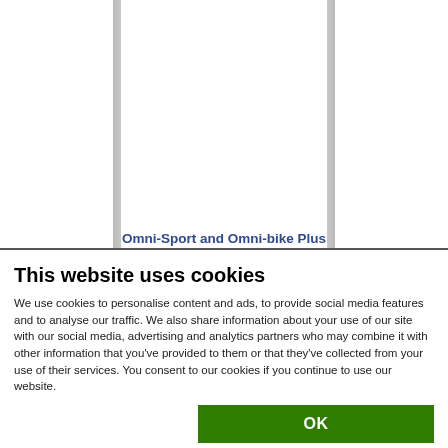[Figure (screenshot): Background of a webpage showing a partially visible document/page with text 'Omni-Sport and Omni-bike Plus' visible at the bottom of the white content area, surrounded by gray margins]
This website uses cookies
We use cookies to personalise content and ads, to provide social media features and to analyse our traffic. We also share information about your use of our site with our social media, advertising and analytics partners who may combine it with other information that you've provided to them or that they've collected from your use of their services. You consent to our cookies if you continue to use our website.
| Necessary | Preferences | Statistics | Show details |
| Marketing |  |  |  |